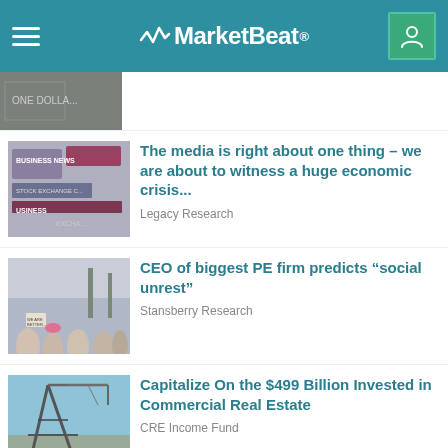MarketBeat
[Figure (photo): Partial view of dollar bill / money image (cropped, top of article card)]
[Figure (photo): Newspaper headlines about business and stock exchange crisis]
The media is right about one thing – we are about to witness a huge economic crisis...
Legacy Research
[Figure (photo): Protesters holding signs at a rally, social unrest demonstration]
CEO of biggest PE firm predicts “social unrest”
Stansberry Research
[Figure (photo): Construction crane and steel structure against blue sky, commercial real estate]
Capitalize On the $499 Billion Invested in Commercial Real Estate
CRE Income Fund